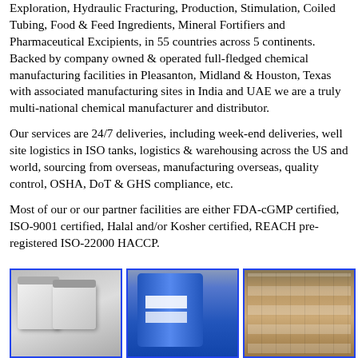Exploration, Hydraulic Fracturing, Production, Stimulation, Coiled Tubing, Food & Feed Ingredients, Mineral Fortifiers and Pharmaceutical Excipients, in 55 countries across 5 continents. Backed by company owned & operated full-fledged chemical manufacturing facilities in Pleasanton, Midland & Houston, Texas with associated manufacturing sites in India and UAE we are a truly multi-national chemical manufacturer and distributor.
Our services are 24/7 deliveries, including week-end deliveries, well site logistics in ISO tanks, logistics & warehousing across the US and world, sourcing from overseas, manufacturing overseas, quality control, OSHA, DoT & GHS compliance, etc.
Most of our or our partner facilities are either FDA-cGMP certified, ISO-9001 certified, Halal and/or Kosher certified, REACH pre-registered ISO-22000 HACCP.
[Figure (photo): Three product photos side by side: white powder in jars, blue-wrapped chemical drum, and palletized packaged goods]